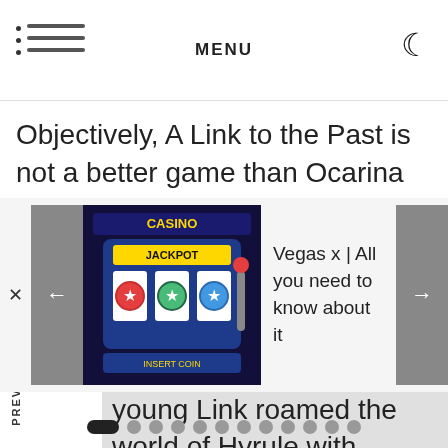MENU
Objectively, A Link to the Past is not a better game than Ocarina of Time. However, this third adventure for Link changed the world of video games forever. young Link roamed the world of Hyrule with of constant fascination on his face. A Link to Past perfectly sums up all the elements that essary to tell a story, while presenting us with act gameplay and an epic challenge.
PREVIOUS POST
NEXT POST
[Figure (screenshot): Casino slot machine advertisement image with jackpot text and colorful gaming machines]
Vegas x | All you need to know about it